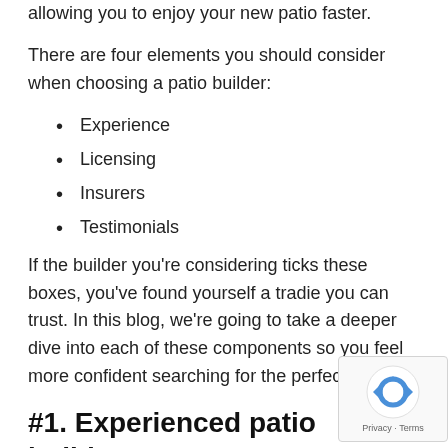allowing you to enjoy your new patio faster.
There are four elements you should consider when choosing a patio builder:
Experience
Licensing
Insurers
Testimonials
If the builder you're considering ticks these boxes, you've found yourself a tradie you can trust. In this blog, we're going to take a deeper dive into each of these components so you feel more confident searching for the perfect builder.
#1. Experienced patio builders